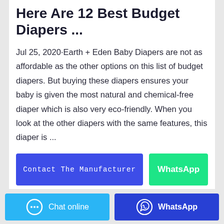Here Are 12 Best Budget Diapers ...
Jul 25, 2020·Earth + Eden Baby Diapers are not as affordable as the other options on this list of budget diapers. But buying these diapers ensures your baby is given the most natural and chemical-free diaper which is also very eco-friendly. When you look at the other diapers with the same features, this diaper is ...
[Figure (other): Two CTA buttons: 'Contact The Manufacturer' (blue/indigo) and 'WhatsApp' (green)]
[Figure (other): Footer bar with 'Chat online' button (light blue with chat icon) and 'WhatsApp' button (dark blue with WhatsApp icon)]